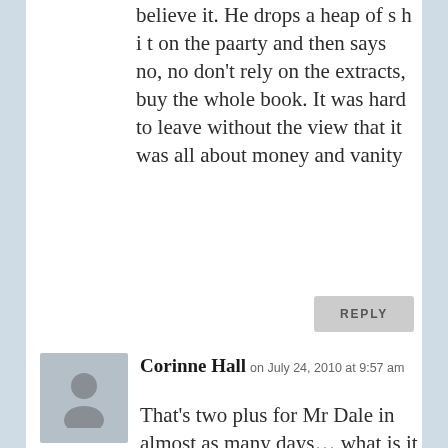believe it. He drops a heap of s h i t on the paarty and then says no, no don't rely on the extracts, buy the whole book. It was hard to leave without the view that it was all about money and vanity
REPLY
Corinne Hall on July 24, 2010 at 9:57 am
That's two plus for Mr Dale in almost as many days... what is it with you two??